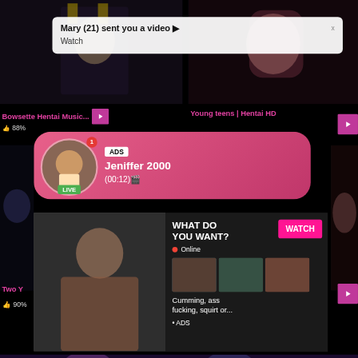[Figure (screenshot): Website screenshot showing adult video streaming site with multiple thumbnails, notification popups, and advertisements]
Mary (21) sent you a video ▶
Watch
Bowsette Hentai Music...
88%
Young teens | Hentai HD
ADS
Jeniffer 2000
(00:12)🎬
LIVE
Two Y...
90%...
WHAT DO YOU WANT?
WATCH
Online
Cumming, ass fucking, squirt or...
• ADS